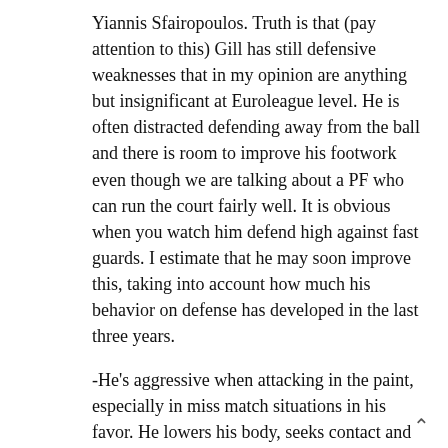Yiannis Sfairopoulos. Truth is that (pay attention to this) Gill has still defensive weaknesses that in my opinion are anything but insignificant at Euroleague level. He is often distracted defending away from the ball and there is room to improve his footwork even though we are talking about a PF who can run the court fairly well. It is obvious when you watch him defend high against fast guards. I estimate that he may soon improve this, taking into account how much his behavior on defense has developed in the last three years.
-He's aggressive when attacking in the paint, especially in miss match situations in his favor. He lowers his body, seeks contact and usually finishes with a baby hook. In these cases his aggression may take him to the free throw line. He was excellent in Virginia's 1-3-1 offense as the last player playing on the base line. His good hands help him there. He is an efficiently offensive player. In his third year in college he got up to 122.3 Offensive Rating and graduated by significantly improving his free throw numbers (67.1%) and an average of 12.8 points.